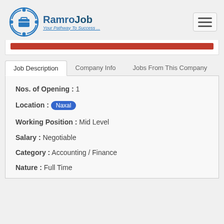RamroJob - Your Pathway To Success...
Nos. of Opening : 1
Location : Naxal
Working Position : Mid Level
Salary : Negotiable
Category : Accounting / Finance
Nature : Full Time